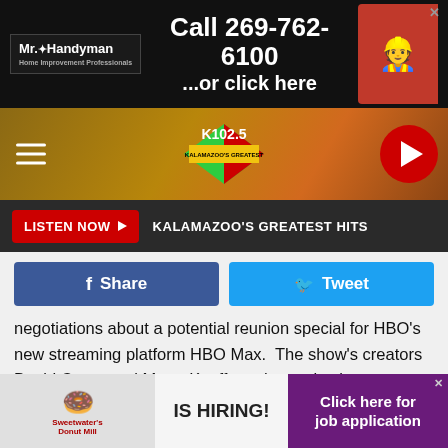[Figure (screenshot): Mr. Handyman advertisement banner: 'Call 269-762-6100 ...or click here' on dark background with logo and photo of handyman]
[Figure (logo): K102.5 Kalamazoo's Greatest Hits radio station navigation bar with hamburger menu, station logo diamond shape, and red play button]
LISTEN NOW ▶  KALAMAZOO'S GREATEST HITS
Share
Tweet
negotiations about a potential reunion special for HBO's new streaming platform HBO Max.  The show's creators David Crane and Marta Kauffman have also been working with the company on this potential project. It has not been revealed if it would be a special, film or limited series.
“The cast of Friends have discussed bringing the show back in some capacity” a source told the outlet. "But in what form
[Figure (screenshot): Sweetwater's Donut Mill IS HIRING! advertisement with Click here for job application button]